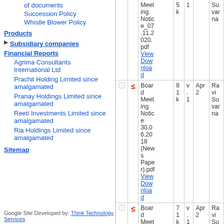of documents
Succession Policy
Whistle Blower Policy
Products
▶ Subsidiary companies
Financial Reports
Agrima Consultants International Ltd
Prachit Holding Limited since amalgamated
Pranay Holdings Limited since amalgamated
Reeti Investments Limited since amalgamated
Ria Holdings Limited since amalgamated
Sitemap
|  |  | Filename | Size | Ver. | Date | User |
| --- | --- | --- | --- | --- | --- | --- |
| ☐ | PDF | Board Meeting Notice_07.11.2020.pdf View Download | 5 k | 1 | Apr 2 | Suvarna |
| ☐ | PDF | Board Meeting Notice 30.06.2018 (News Paper).pdf View Download | 81 k | v. 1 | Apr 2 | Ravi Suvarna |
| ☐ | PDF | Board Meeting... | 7 1 k | v. 1 | Apr 2 | Ravi Su |
Google Site Developed by: Think Technology Services